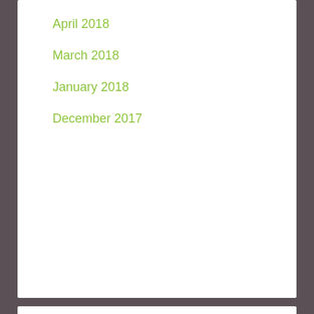April 2018
March 2018
January 2018
December 2017
Blogs I Follow
[Figure (photo): Person riding a snow bike through snowy terrain near a bridge]
[Figure (logo): WordPress logo - white W in a circle on light grey background]